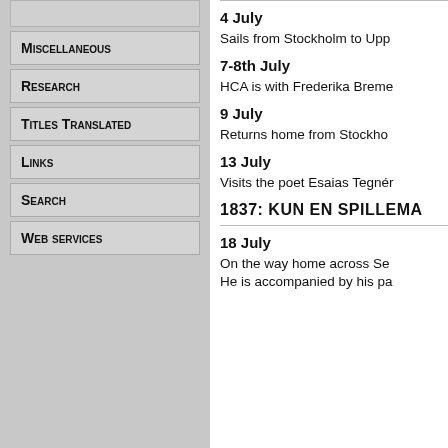Miscellaneous
Research
Titles Translated
Links
Search
Web services
4 July
Sails from Stockholm to Upp
7-8th July
HCA is with Frederika Breme
9 July
Returns home from Stockho
13 July
Visits the poet Esaias Tegnér
1837: KUN EN SPILLEMA
18 July
On the way home across Se